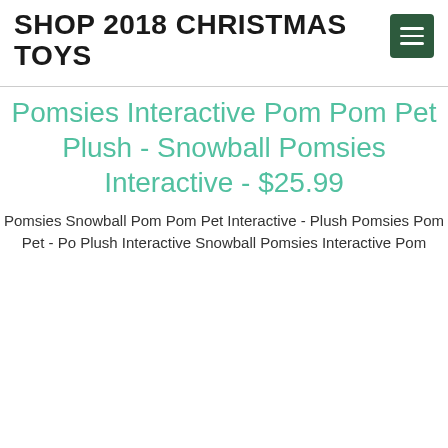SHOP 2018 CHRISTMAS TOYS
Pomsies Interactive Pom Pom Pet Plush - Snowball Pomsies Interactive - $25.99
Pomsies Snowball Pom Pom Pet Interactive - Plush Pomsies Pom Pet - Pomsies Plush Interactive Snowball Pomsies Interactive Pom